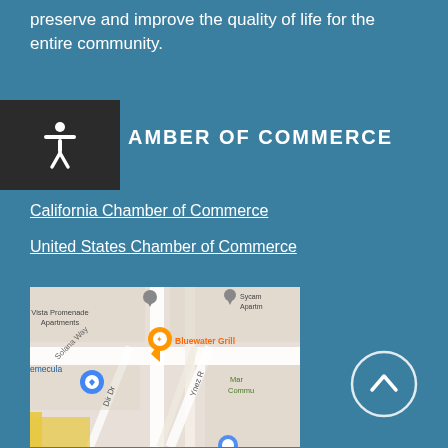preserve and improve the quality of life for the entire community.
CHAMBER OF COMMERCE
California Chamber of Commerce
United States Chamber of Commerce
[Figure (map): Google Maps screenshot showing area near Temecula with Bluewater Grill, Vista Promenade Apartments, and Ynez Road visible]